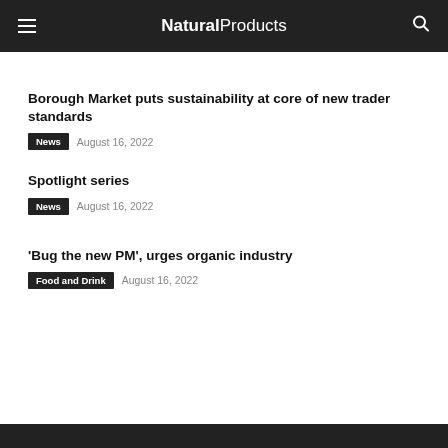NaturalProducts
Borough Market puts sustainability at core of new trader standards
News  August 16, 2022
Spotlight series
News  August 16, 2022
'Bug the new PM', urges organic industry
Food and Drink  August 16, 2022